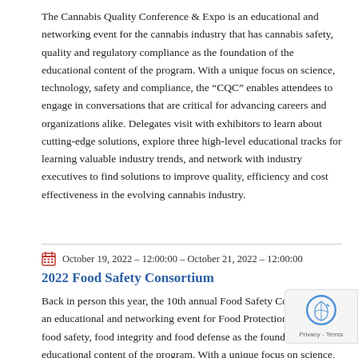The Cannabis Quality Conference & Expo is an educational and networking event for the cannabis industry that has cannabis safety, quality and regulatory compliance as the foundation of the educational content of the program. With a unique focus on science, technology, safety and compliance, the "CQC" enables attendees to engage in conversations that are critical for advancing careers and organizations alike. Delegates visit with exhibitors to learn about cutting-edge solutions, explore three high-level educational tracks for learning valuable industry trends, and network with industry executives to find solutions to improve quality, efficiency and cost effectiveness in the evolving cannabis industry.
October 19, 2022 – 12:00:00 – October 21, 2022 – 12:00:00
2022 Food Safety Consortium
Back in person this year, the 10th annual Food Safety Consortium is an educational and networking event for Food Protection that has food safety, food integrity and food defense as the foundation of the educational content of the program. With a unique focus on science, technology and compliance, the "Consortium" enables attendees to engage in conversations that are critical for advancing careers and organizations alike.